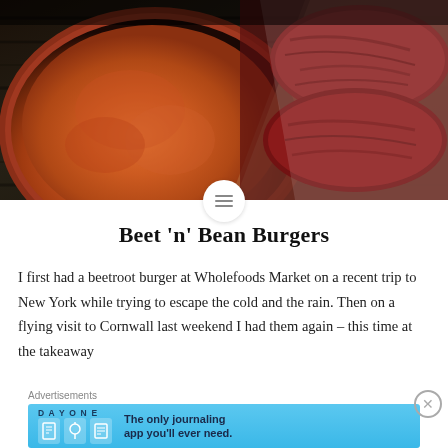[Figure (photo): Food photo showing a clay bowl of orange-red sauce on the left and dark red beetroot burger patties on white paper on the right, on a dark wooden surface.]
Beet 'n' Bean Burgers
I first had a beetroot burger at Wholefoods Market on a recent trip to New York while trying to escape the cold and the rain. Then on a flying visit to Cornwall last weekend I had them again – this time at the takeaway
Advertisements
[Figure (screenshot): Day One journaling app advertisement banner with text: 'The only journaling app you'll ever need.']